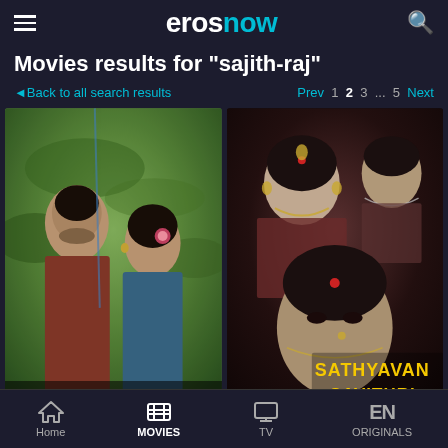erosnow
Movies results for "sajith-raj"
Back to all search results   Prev  1  2  3  ...  5  Next
[Figure (screenshot): Movie thumbnail for Mariyahansinte showing a couple face to face in an outdoor green setting]
[Figure (screenshot): Movie poster for Sathyavan Savithri showing black and white film actors with yellow title text]
Home   MOVIES   TV   ORIGINALS